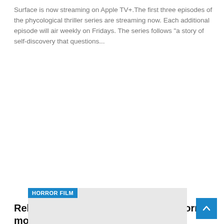Surface is now streaming on Apple TV+.The first three episodes of the phycological thriller series are streaming now. Each additional episode will air weekly on Fridays. The series follows "a story of self-discovery that questions...
[Figure (photo): Horror Film tag over a light gray image placeholder]
Rebecca Hall stuns in this spooky horror movie
ANGELA E. ROBE...   Jul 27, 2022
article Rebecca Hall appears in Andrew Semans' "Resurrection," an Official Selection in the Premieres section of the 2022 Sundance Film Festival. Courtesy of Sundance Institute | photo by Wyatt Garfield. Chicago - Editor's Note: This...
[Figure (photo): Movie Production tag over a dark image placeholder]